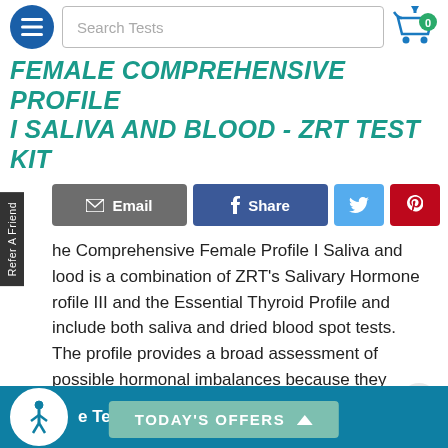Search Tests
FEMALE COMPREHENSIVE PROFILE I SALIVA AND BLOOD - ZRT TEST KIT
Email
Share
The Comprehensive Female Profile I Saliva and Blood is a combination of ZRT's Salivary Hormone Profile III and the Essential Thyroid Profile and include both saliva and dried blood spot tests. The profile provides a broad assessment of possible hormonal imbalances because they assess sex, adrenal, and thyroid hormone levels.
e Test Kit: ZRT
TODAY'S OFFERS